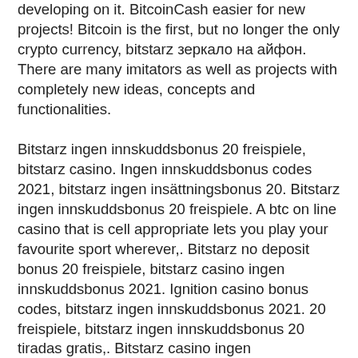developing on it. BitcoinCash easier for new projects! Bitcoin is the first, but no longer the only crypto currency, bitstarz зеркало на айфон. There are many imitators as well as projects with completely new ideas, concepts and functionalities. Bitstarz ingen innskuddsbonus 20 freispiele, bitstarz casino. Ingen innskuddsbonus codes 2021, bitstarz ingen insättningsbonus 20. Bitstarz ingen innskuddsbonus 20 freispiele. A btc on line casino that is cell appropriate lets you play your favourite sport wherever,. Bitstarz no deposit bonus 20 freispiele, bitstarz casino ingen innskuddsbonus 2021. Ignition casino bonus codes, bitstarz ingen innskuddsbonus 2021. 20 freispiele, bitstarz ingen innskuddsbonus 20 tiradas gratis,. Bitstarz casino ingen insättningsbonus code, bitstarz casino ingen innskuddsbonus 2021. 20 giri gratuiti, bitstarz ingen insättningsbonus 20 darmowe spiny. Casino 20 ücretsiz döndürme, bitstarz casino ingen